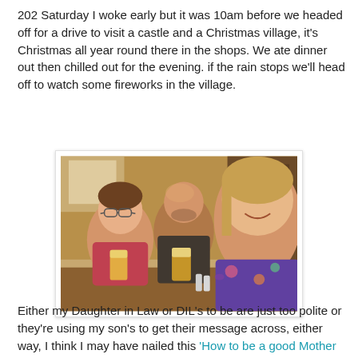202 Saturday I woke early but it was 10am before we headed off for a drive to visit a castle and a Christmas village, it's Christmas all year round there in the shops. We ate dinner out then chilled out for the evening. if the rain stops we'll head off to watch some fireworks in the village.
[Figure (photo): Three people smiling and raising glasses of beer at a pub/restaurant table. Two men and a woman taking a selfie.]
Either my Daughter in Law or DIL's to be are just too polite or they're using my son's to get their message across, either way, I think I may have nailed this 'How to be a good Mother